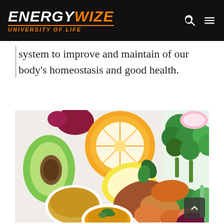ENERGYWIZE UNIVERSITY OF LIFE
system to improve and maintain of our body's homeostasis and good health.
[Figure (photo): Overhead view of assorted healthy foods including avocado, orange slices, lemon, broccoli, sweet potato slices, bowls of turmeric powder and broth, beets, and spinach leaves on a white surface.]